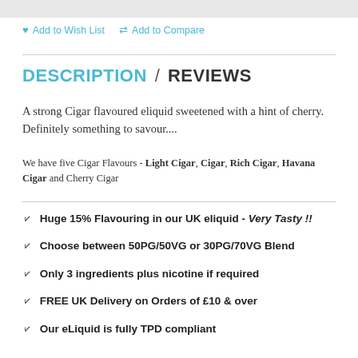Add to Wish List   Add to Compare
DESCRIPTION / REVIEWS
A strong Cigar flavoured eliquid sweetened with a hint of cherry. Definitely something to savour....
We have five Cigar Flavours - Light Cigar, Cigar, Rich Cigar, Havana Cigar and Cherry Cigar
Huge 15% Flavouring in our UK eliquid - Very Tasty !!
Choose between 50PG/50VG or 30PG/70VG Blend
Only 3 ingredients plus nicotine if required
FREE UK Delivery on Orders of £10 & over
Our eLiquid is fully TPD compliant